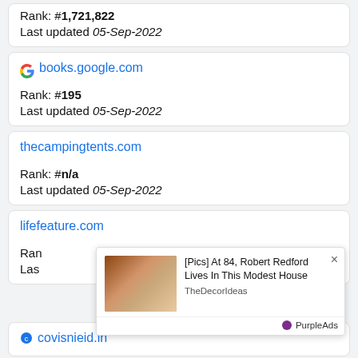Rank: #1,721,822
Last updated 05-Sep-2022
books.google.com
Rank: #195
Last updated 05-Sep-2022
thecampingtents.com
Rank: #n/a
Last updated 05-Sep-2022
lifefeature.com
Rank: ...
Last updated ...
[Figure (photo): Ad overlay showing two people smiling, with text: [Pics] At 84, Robert Redford Lives In This Modest House. Source: TheDecorIdeas. PurpleAds branding.]
covisnieid.in